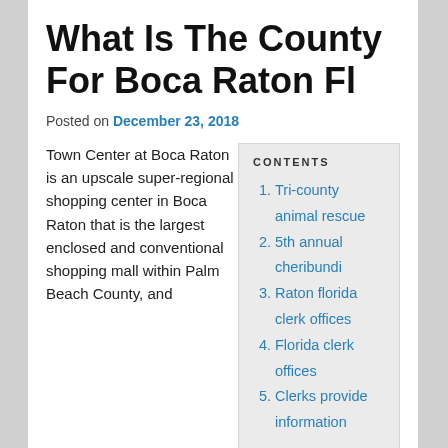What Is The County For Boca Raton Fl
Posted on December 23, 2018
Town Center at Boca Raton is an upscale super-regional shopping center in Boca Raton that is the largest enclosed and conventional shopping mall within Palm Beach County, and the third largest by square feet in South Florida, behind Sawgrass Mills and Aventura Mall.
Tri-county animal rescue
5th annual cheribundi
Raton florida clerk offices
Florida clerk offices
Clerks provide information
The school district had to show that even though there was room for more students in many schools in Palm